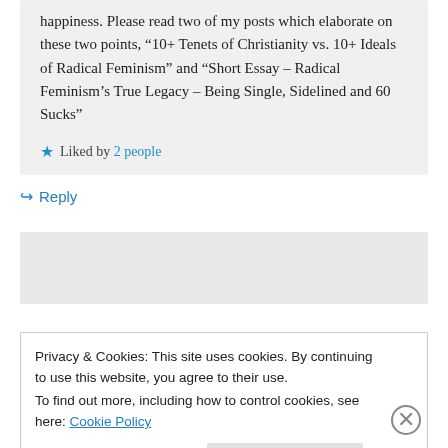happiness. Please read two of my posts which elaborate on these two points, “10+ Tenets of Christianity vs. 10+ Ideals of Radical Feminism” and “Short Essay – Radical Feminism’s True Legacy – Being Single, Sidelined and 60 Sucks”
★ Liked by 2 people
↪ Reply
Privacy & Cookies: This site uses cookies. By continuing to use this website, you agree to their use.
To find out more, including how to control cookies, see here: Cookie Policy
Close and accept